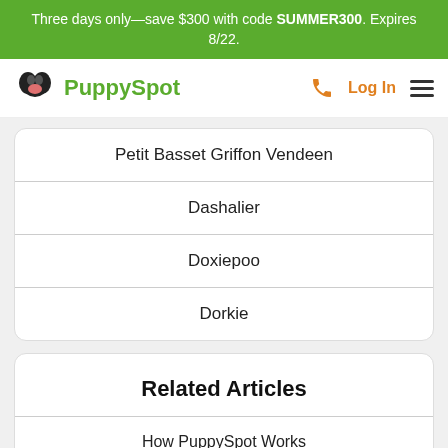Three days only—save $300 with code SUMMER300. Expires 8/22.
PuppySpot
Petit Basset Griffon Vendeen
Dashalier
Doxiepoo
Dorkie
Related Articles
How PuppySpot Works
A Step by Step Tutorial to Leash Training